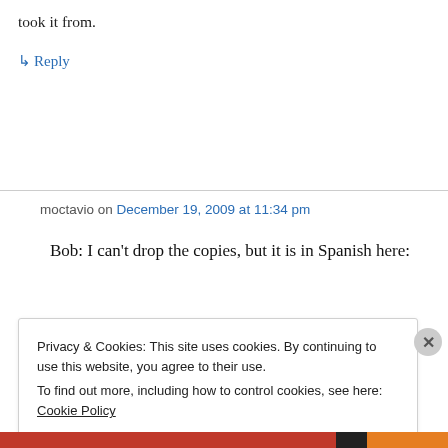took it from.
↳ Reply
moctavio on December 19, 2009 at 11:34 pm
Bob: I can't drop the copies, but it is in Spanish here:
Privacy & Cookies: This site uses cookies. By continuing to use this website, you agree to their use.
To find out more, including how to control cookies, see here: Cookie Policy
Close and accept